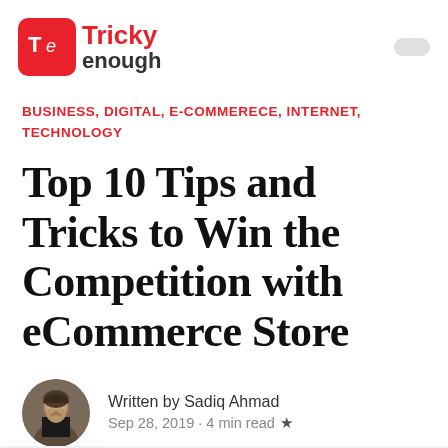[Figure (logo): Tricky Enough logo with red rounded square icon containing 'Te' and red text 'Tricky enough']
BUSINESS, DIGITAL, E-COMMERECE, INTERNET, TECHNOLOGY
Top 10 Tips and Tricks to Win the Competition with eCommerce Store
Written by Sadiq Ahmad
Sep 28, 2019 · 4 min read ★